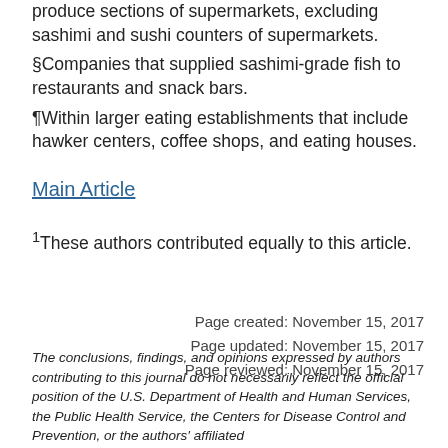produce sections of supermarkets, excluding sashimi and sushi counters of supermarkets.
§Companies that supplied sashimi-grade fish to restaurants and snack bars.
¶Within larger eating establishments that include hawker centers, coffee shops, and eating houses.
Main Article
1These authors contributed equally to this article.
Page created: November 15, 2017
Page updated: November 15, 2017
Page reviewed: November 15, 2017
The conclusions, findings, and opinions expressed by authors contributing to this journal do not necessarily reflect the official position of the U.S. Department of Health and Human Services, the Public Health Service, the Centers for Disease Control and Prevention, or the authors' affiliated